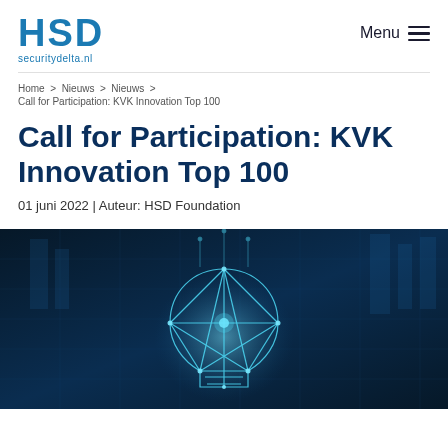HSD securitydelta.nl | Menu
Home > Nieuws > Nieuws > Call for Participation: KVK Innovation Top 100
Call for Participation: KVK Innovation Top 100
01 juni 2022 | Auteur: HSD Foundation
[Figure (photo): Hero image with dark blue digital/tech background and a glowing wireframe lightbulb graphic in the center, representing innovation.]